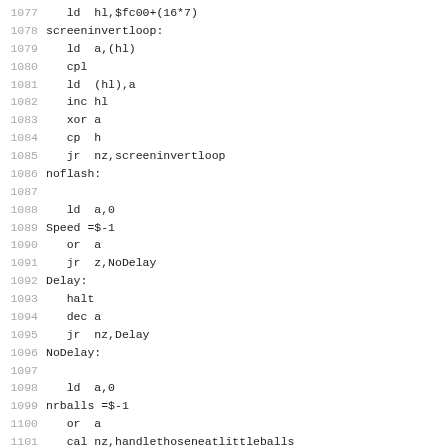Assembly source code listing, lines 1077-1108+
1077    ld  hl,$fc00+(16*7)
1078 screeninvertloop:
1079    ld  a,(hl)
1080    cpl
1081    ld  (hl),a
1082    inc hl
1083    xor a
1084    cp  h
1085    jr  nz,screeninvertloop
1086 noflash:
1087
1088    ld  a,0
1089 Speed =$-1
1090    or  a
1091    jr  z,NoDelay
1092 Delay:
1093    halt
1094    dec a
1095    jr  nz,Delay
1096 NoDelay:
1097
1098    ld  a,0
1099 nrballs =$-1
1100    or  a
1101    cal nz,handlethoseneatlittleballs
1102
1103    ld  ix,worm1
1104    ld  a,(nrworms)
1105    ld  b,a
1106 handleworms:
1107    psh bc
1108    cal HandleWorm